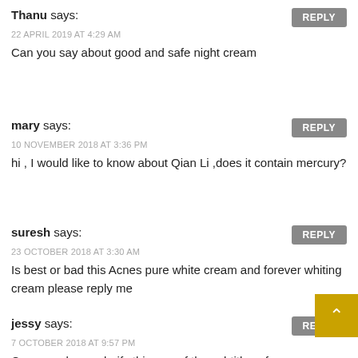Thanu says:
22 APRIL 2019 AT 4:29 AM
Can you say about good and safe night cream
mary says:
10 NOVEMBER 2018 AT 3:36 PM
hi , I would like to know about Qian Li ,does it contain mercury?
suresh says:
23 OCTOBER 2018 AT 3:30 AM
Is best or bad this Acnes pure white cream and forever whiting cream please reply me
jessy says:
7 OCTOBER 2018 AT 9:57 PM
Can you please clarify this one of the subtitles of your article: